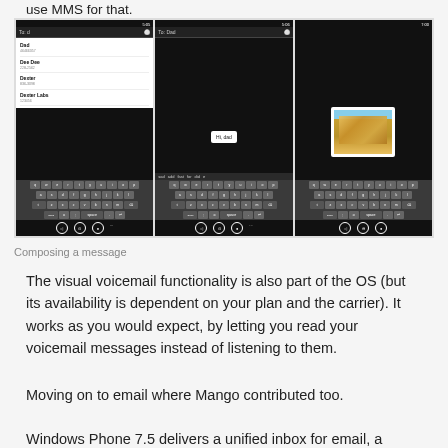use MMS for that.
[Figure (screenshot): Three Windows Phone 7.5 screenshots showing composing a message: first screen shows autocomplete contact list with 'To: d' typed and contacts Dad, Dee Dee, Dexter, Dexter Labs listed; second screen shows message to Dad with 'Hi, dad' typed; third screen shows MMS with a photo of a building attached. All screens show virtual keyboard.]
Composing a message
The visual voicemail functionality is also part of the OS (but its availability is dependent on your plan and the carrier). It works as you would expect, by letting you read your voicemail messages instead of listening to them.
Moving on to email where Mango contributed too.
Windows Phone 7.5 delivers a unified inbox for email, a highly